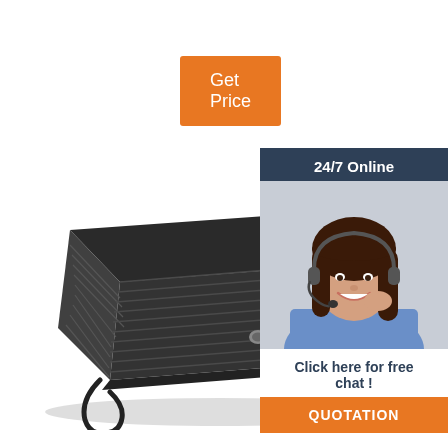[Figure (illustration): Orange 'Get Price' button in top left area of page]
[Figure (photo): Large black rectangular industrial battery/LiFePO4 battery pack with handle straps, shown in perspective view on white background]
[Figure (infographic): Customer service panel: dark blue background with '24/7 Online' header text, photo of smiling female agent with headset, 'Click here for free chat!' text, and orange 'QUOTATION' button]